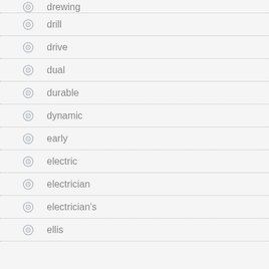drewing
drill
drive
dual
durable
dynamic
early
electric
electrician
electrician's
ellis